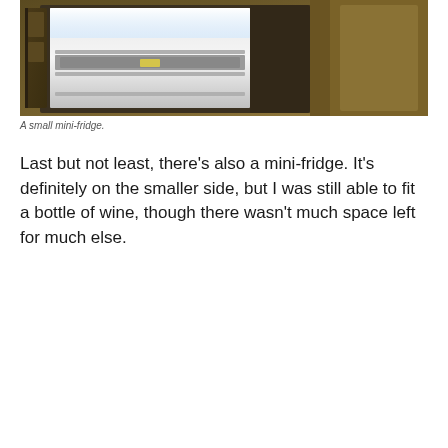[Figure (photo): A small mini-fridge with its door open, showing the interior shelves. The fridge is set into a dark wooden cabinet. The scene is dimly lit with warm tones.]
A small mini-fridge.
Last but not least, there's also a mini-fridge. It's definitely on the smaller side, but I was still able to fit a bottle of wine, though there wasn't much space left for much else.